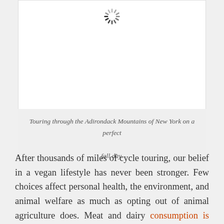[Figure (photo): Loading spinner icon indicating an image is loading — white box with a spinning circle loader at the top center.]
Touring through the Adirondack Mountains of New York on a perfect fall day.
After thousands of miles of cycle touring, our belief in a vegan lifestyle has never been stronger. Few choices affect personal health, the environment, and animal welfare as much as opting out of animal agriculture does. Meat and dairy consumption is declining